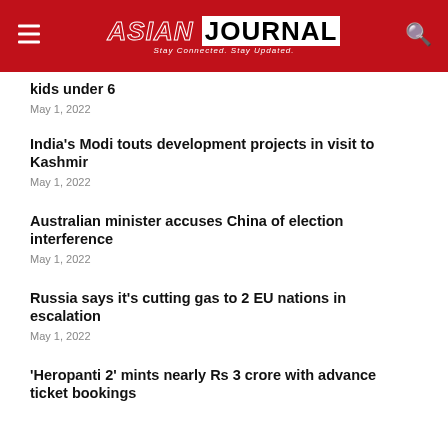ASIAN JOURNAL — Stay Connected. Stay Updated.
kids under 6
May 1, 2022
India's Modi touts development projects in visit to Kashmir
May 1, 2022
Australian minister accuses China of election interference
May 1, 2022
Russia says it's cutting gas to 2 EU nations in escalation
May 1, 2022
'Heropanti 2' mints nearly Rs 3 crore with advance ticket bookings